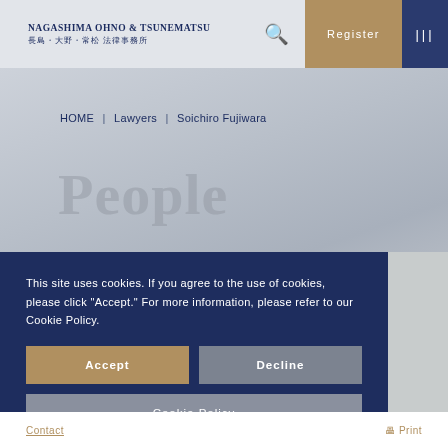NAGASHIMA OHNO & TSUNEMATSU 長島・大野・常松 法律事務所
HOME | Lawyers | Soichiro Fujiwara
People
This site uses cookies. If you agree to the use of cookies, please click "Accept." For more information, please refer to our Cookie Policy.
Accept
Decline
Cookie Policy
Contact  Print